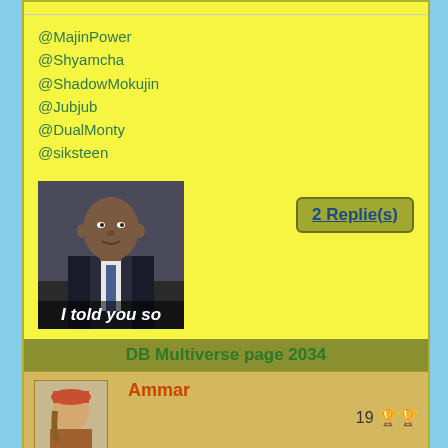@MajinPower
@Shyamcha
@ShadowMokujin
@Jubjub
@DualMonty
@siksteen
[Figure (photo): Photo of a man in a suit with text overlay 'I told you so']
2 Replie(s)
DB Multiverse page 2034
Ammar
19
DualMonty was saying:
What plothole? He could've posed like that before he went to earth but after Vegeta killed Broly.
[Figure (illustration): Two small thumbnail images at the bottom]